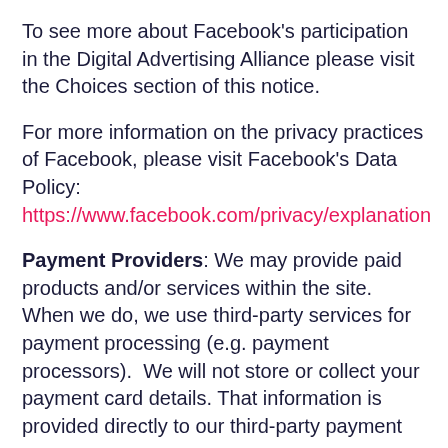To see more about Facebook's participation in the Digital Advertising Alliance please visit the Choices section of this notice.
For more information on the privacy practices of Facebook, please visit Facebook's Data Policy: https://www.facebook.com/privacy/explanation
Payment Providers: We may provide paid products and/or services within the site. When we do, we use third-party services for payment processing (e.g. payment processors).  We will not store or collect your payment card details. That information is provided directly to our third-party payment